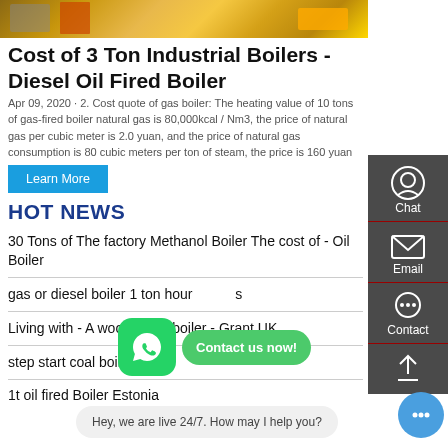[Figure (photo): Top banner image showing industrial boiler equipment with yellow and orange machinery]
Cost of 3 Ton Industrial Boilers - Diesel Oil Fired Boiler
Apr 09, 2020 · 2. Cost quote of gas boiler: The heating value of 10 tons of gas-fired boiler natural gas is 80,000kcal / Nm3, the price of natural gas per cubic meter is 2.0 yuan, and the price of natural gas consumption is 80 cubic meters per ton of steam, the price is 160 yuan
Learn More
HOT NEWS
30 Tons of The factory Methanol Boiler The cost of - Oil Boiler
gas or diesel boiler 1 ton hour s
Living with - A wood pellet boiler - Grant UK
step start coal boil
1t oil fired Boiler Estonia